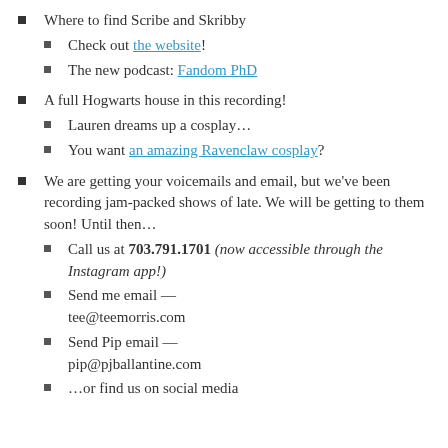Where to find Scribe and Skribby
Check out the website!
The new podcast: Fandom PhD
A full Hogwarts house in this recording!
Lauren dreams up a cosplay…
You want an amazing Ravenclaw cosplay?
We are getting your voicemails and email, but we've been recording jam-packed shows of late. We will be getting to them soon! Until then…
Call us at 703.791.1701 (now accessible through the Instagram app!)
Send me email — tee@teemorris.com
Send Pip email — pip@pjballantine.com
…or find us on social media